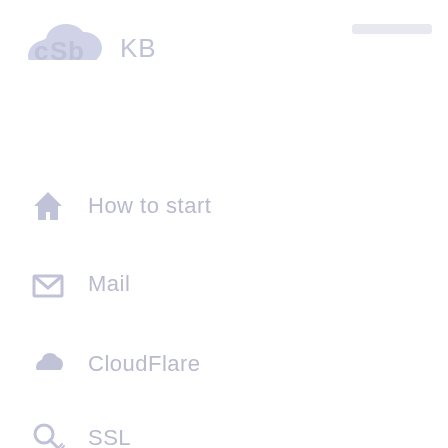KB
How to start
Mail
CloudFlare
SSL